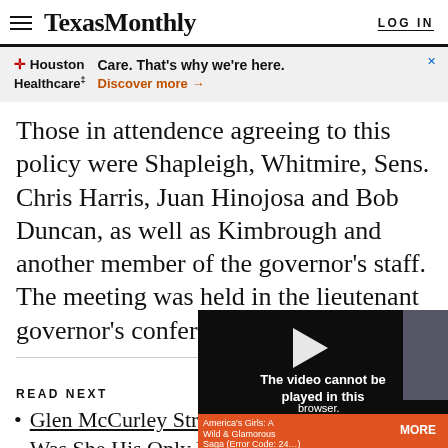TexasMonthly  LOG IN
[Figure (other): HCA Houston Healthcare advertisement banner: 'Care. That's why we're here. Discover more →' with close X button]
Those in attendence agreeing to this policy were Shapleigh, Whitmire, Sens. Chris Harris, Juan Hinojosa and Bob Duncan, as well as Kimbrough and another member of the governor's staff. The meeting was held in the lieutenant governor's conference room.
READ NEXT
Glen McCurley Strang… Was She His Only Victi…